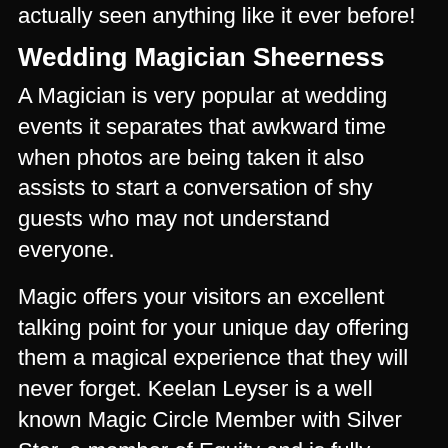actually seen anything like it ever before!
Wedding Magician Sheerness
A Magician is very popular at wedding events it separates that awkward time when photos are being taken it also assists to start a conversation of shy guests who may not understand everyone.
Magic offers your visitors an excellent talking point for your unique day offering them a magical experience that they will never forget. Keelan Leyser is a well known Magic Circle Member with Silver Star, a member of Equity and is fully